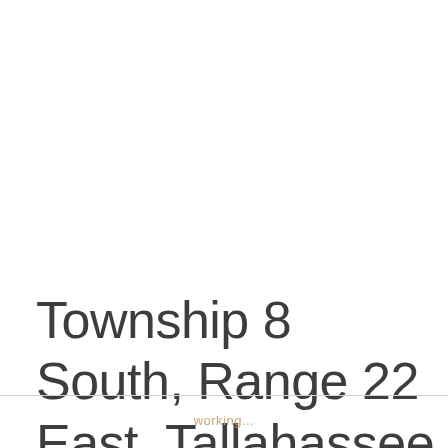Township 8 South, Range 22 East, Tallahassee Principal Meridian, Florida
working...